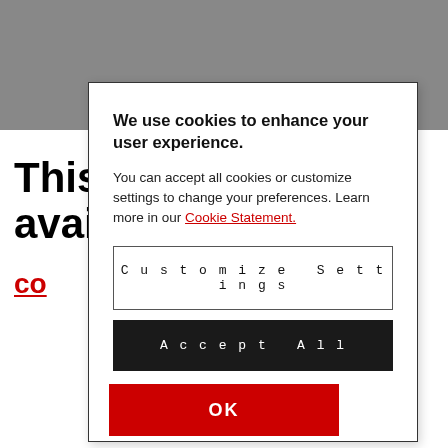[Figure (screenshot): Gray background banner at the top of the page, partially visible behind a cookie consent modal dialog.]
We use cookies to enhance your user experience.
You can accept all cookies or customize settings to change your preferences. Learn more in our Cookie Statement.
Customize Settings
Accept All
OK